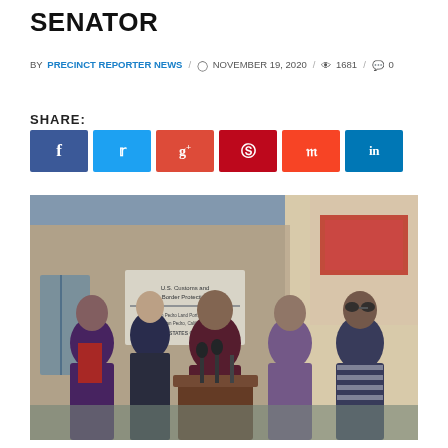SENATOR
BY PRECINCT REPORTER NEWS / NOVEMBER 19, 2020 / 1681 / 0
SHARE:
[Figure (photo): Group of politicians standing at a podium with microphones outside a U.S. Customs and Border Protection building. Five individuals visible including women in purple and maroon jackets.]